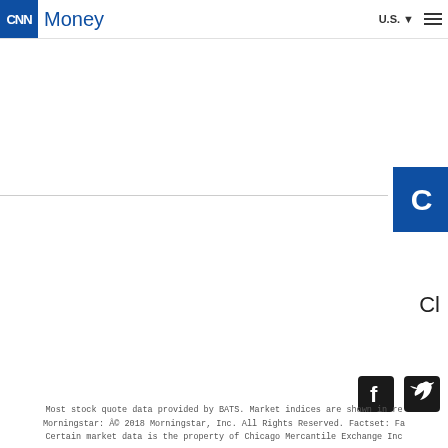CNN Money | U.S.
[Figure (logo): CNN Money logo with blue CNN box and blue 'Money' text in header]
[Figure (logo): CNN blue box with partial 'C' letter visible on right side mid-page]
Cl
[Figure (illustration): Facebook and Twitter social media icons]
Most stock quote data provided by BATS. Market indices are shown in re Morningstar: © 2018 Morningstar, Inc. All Rights Reserved. Factset: Fa Certain market data is the property of Chicago Mercantile Exchange Inc